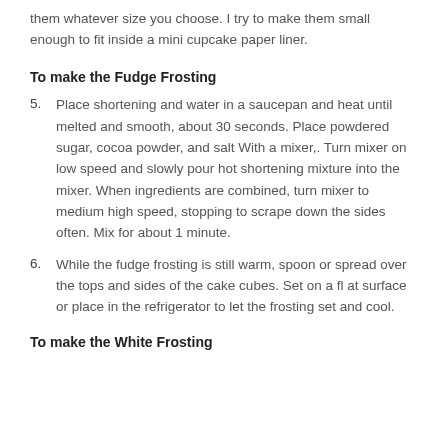them whatever size you choose. I try to make them small enough to fit inside a mini cupcake paper liner.
To make the Fudge Frosting
5. Place shortening and water in a saucepan and heat until melted and smooth, about 30 seconds. Place powdered sugar, cocoa powder, and salt With a mixer,. Turn mixer on low speed and slowly pour hot shortening mixture into the mixer. When ingredients are combined, turn mixer to medium high speed, stopping to scrape down the sides often. Mix for about 1 minute.
6. While the fudge frosting is still warm, spoon or spread over the tops and sides of the cake cubes. Set on a fl at surface or place in the refrigerator to let the frosting set and cool.
To make the White Frosting